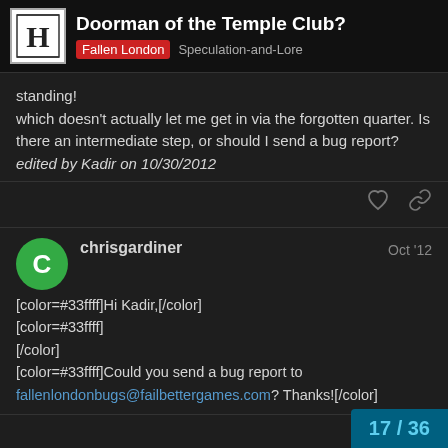Doorman of the Temple Club? | Fallen London | Speculation-and-Lore
standing!
which doesn't actually let me get in via the forgotten quarter. Is there an intermediate step, or should I send a bug report?
edited by Kadir on 10/30/2012
chrisgardiner  Oct '12
[color=#33ffff]Hi Kadir,[/color]
[color=#33ffff]
[/color]
[color=#33ffff]Could you send a bug report to fallenlondonbugs@failbettergames.com? Thanks![/color]
17 / 36